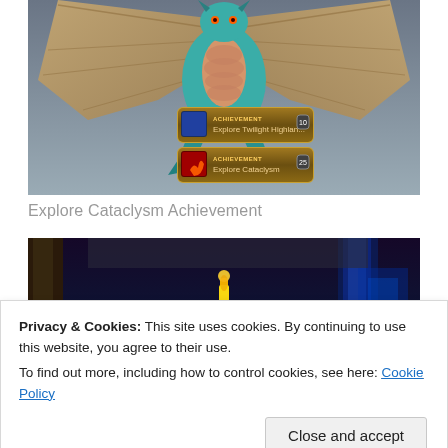[Figure (screenshot): World of Warcraft screenshot showing a large teal dragon with spread wings viewed from the front, with two achievement notification banners visible: 'Explore Twilight Highlands' and 'Explore Cataclysm']
Explore Cataclysm Achievement
[Figure (screenshot): World of Warcraft screenshot showing a dark dungeon/instance scene with purple and blue lighting, stone architecture, and a yellow exclamation mark visible]
Privacy & Cookies: This site uses cookies. By continuing to use this website, you agree to their use.
To find out more, including how to control cookies, see here: Cookie Policy